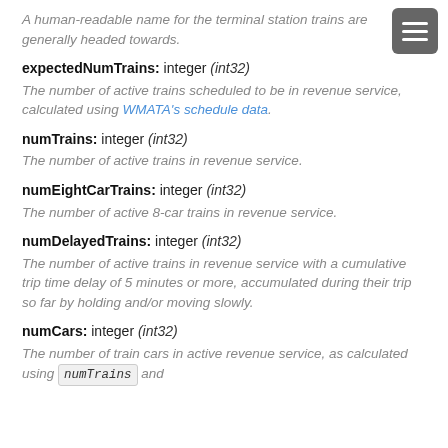A human-readable name for the terminal station trains are generally headed towards.
expectedNumTrains: integer (int32)
The number of active trains scheduled to be in revenue service, calculated using WMATA's schedule data.
numTrains: integer (int32)
The number of active trains in revenue service.
numEightCarTrains: integer (int32)
The number of active 8-car trains in revenue service.
numDelayedTrains: integer (int32)
The number of active trains in revenue service with a cumulative trip time delay of 5 minutes or more, accumulated during their trip so far by holding and/or moving slowly.
numCars: integer (int32)
The number of train cars in active revenue service, as calculated using numTrains and